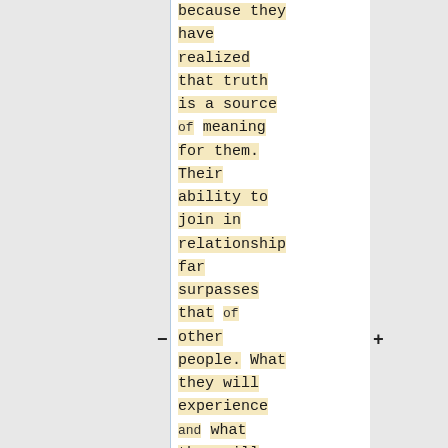because they have realized that truth is a source of meaning for them. Their ability to join in relationship far surpasses that of other people. What they will experience and what they will give will far surpass